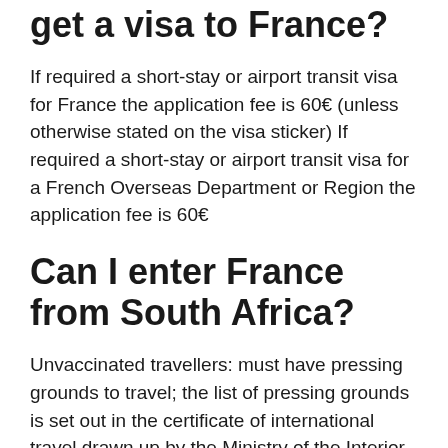How much does it cost to get a visa to France?
If required a short-stay or airport transit visa for France the application fee is 60€ (unless otherwise stated on the visa sticker) If required a short-stay or airport transit visa for a French Overseas Department or Region the application fee is 60€
Can I enter France from South Africa?
Unvaccinated travellers: must have pressing grounds to travel; the list of pressing grounds is set out in the certificate of international travel drawn up by the Ministry of the Interior. must take a mandatory